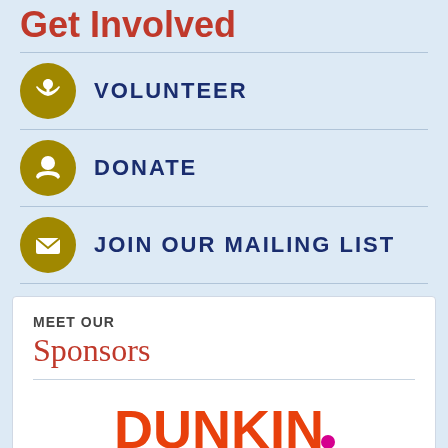Get Involved
VOLUNTEER
DONATE
JOIN OUR MAILING LIST
MEET OUR
Sponsors
[Figure (logo): Dunkin' logo in orange and pink lettering]